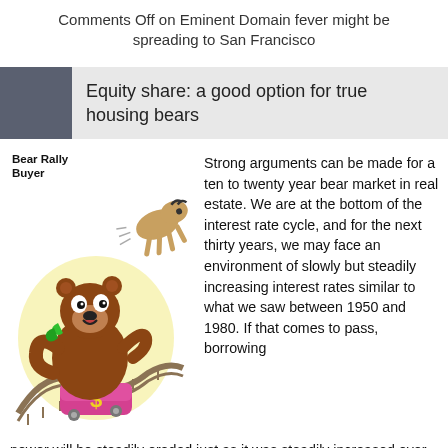Comments Off on Eminent Domain fever might be spreading to San Francisco
Equity share: a good option for true housing bears
[Figure (illustration): Cartoon illustration of a bear riding a roller coaster car with a dollar sign, with a bull flying off above, labeled 'Bear Rally Buyer']
Strong arguments can be made for a ten to twenty year bear market in real estate. We are at the bottom of the interest rate cycle, and for the next thirty years, we may face an environment of slowly but steadily increasing interest rates similar to what we saw between 1950 and 1980. If that comes to pass, borrowing power will be steadily eroded just as it was steadily increased over the last 30 years. Combine this with the likelihood of a decade or more of underemployment